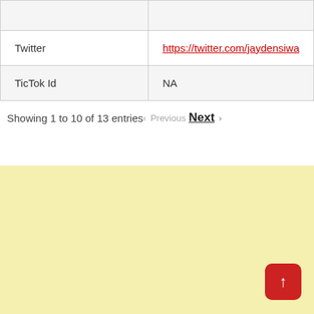|  |  |
| Twitter | https://twitter.com/jaydensiwa |
| TicTok Id | NA |
Showing 1 to 10 of 13 entries
Previous  Next
[Figure (screenshot): Yellow/cream colored background section at bottom of page with a red scroll-to-top button in the bottom right corner showing an upward arrow.]